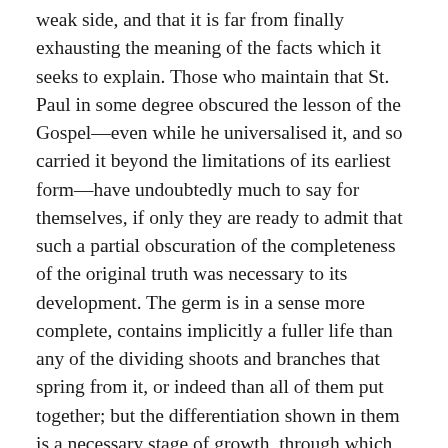weak side, and that it is far from finally exhausting the meaning of the facts which it seeks to explain. Those who maintain that St. Paul in some degree obscured the lesson of the Gospel—even while he universalised it, and so carried it beyond the limitations of its earliest form—have undoubtedly much to say for themselves, if only they are ready to admit that such a partial obscuration of the completeness of the original truth was necessary to its development. The germ is in a sense more complete, contains implicitly a fuller life than any of the dividing shoots and branches that spring from it, or indeed than all of them put together; but the differentiation shown in them is a necessary stage of growth, through which the seed must pass if it is ever to return to itself in the multiplied life of the fruit. If we might venture to paraphrase the passage in the Gospel, in which Jesus compares himself to John the Baptist, we should express it thus: Jesus Christ came uttering the pregnant words of wisdom in the